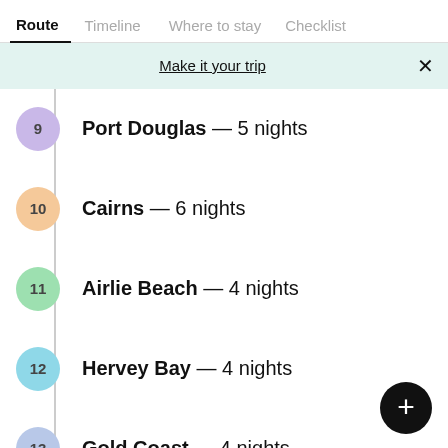Route | Timeline | Where to stay | Checklist
Make it your trip
9  Port Douglas — 5 nights
10  Cairns — 6 nights
11  Airlie Beach — 4 nights
12  Hervey Bay — 4 nights
13  Gold Coast — 4 nights
End: Portland